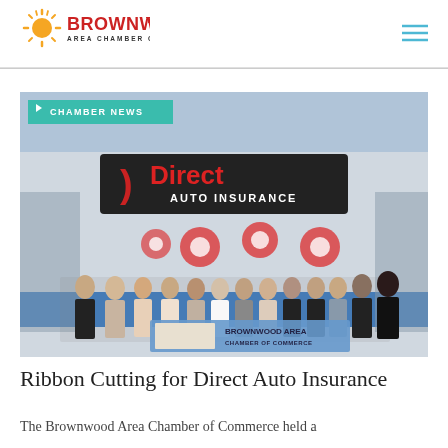BrownwoodTX Area Chamber of Commerce
[Figure (photo): Group photo in front of Direct Auto Insurance store. People holding a Brownwood Area Chamber of Commerce banner. A Chamber News tag overlays the top-left corner of the image.]
Ribbon Cutting for Direct Auto Insurance
The Brownwood Area Chamber of Commerce held a